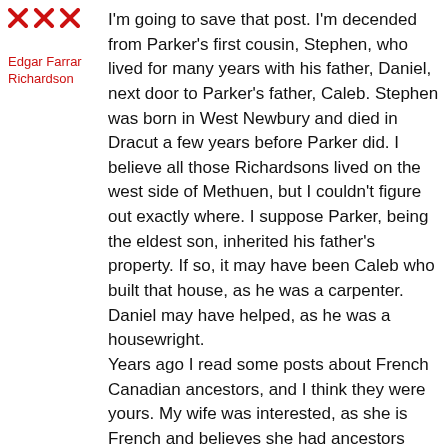[Figure (logo): Red decorative avatar/icon with X patterns]
Edgar Farrar Richardson
I'm going to save that post. I'm decended from Parker's first cousin, Stephen, who lived for many years with his father, Daniel, next door to Parker's father, Caleb. Stephen was born in West Newbury and died in Dracut a few years before Parker did. I believe all those Richardsons lived on the west side of Methuen, but I couldn't figure out exactly where. I suppose Parker, being the eldest son, inherited his father's property. If so, it may have been Caleb who built that house, as he was a carpenter. Daniel may have helped, as he was a housewright.
Years ago I read some posts about French Canadian ancestors, and I think they were yours. My wife was interested, as she is French and believes she had ancestors who emigrated but has not had time to follow it up.